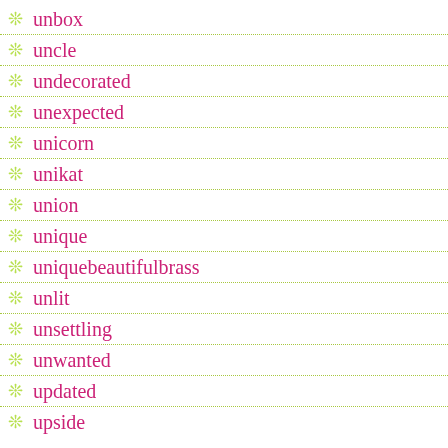unbox
uncle
undecorated
unexpected
unicorn
unikat
union
unique
uniquebeautifulbrass
unlit
unsettling
unwanted
updated
upside